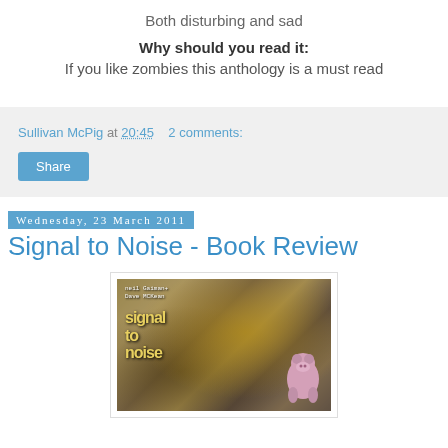Both disturbing and sad
Why should you read it:
If you like zombies this anthology is a must read
Sullivan McPig at 20:45   2 comments:
Share
Wednesday, 23 March 2011
Signal to Noise - Book Review
[Figure (photo): Book cover of Signal to Noise by Neil Gaiman and Dave McKean with a stuffed pig toy]